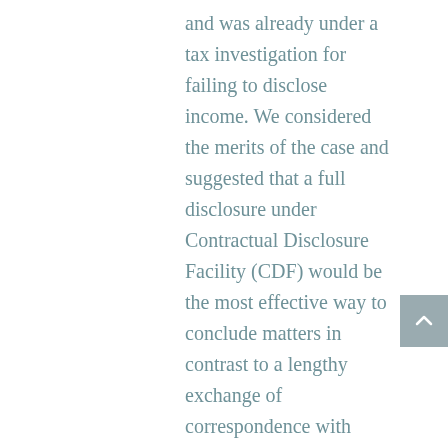and was already under a tax investigation for failing to disclose income. We considered the merits of the case and suggested that a full disclosure under Contractual Disclosure Facility (CDF) would be the most effective way to conclude matters in contrast to a lengthy exchange of correspondence with HMRC inspector resulting in tax and high professional fees.  The proposal was put forward to HMRC inspectors and they agreed to receiving a CDF. A full CDF submission was prepared and submitted which was fully accepted by HMRC. The tax and penalties payable as a result were quite minimal compared to what had